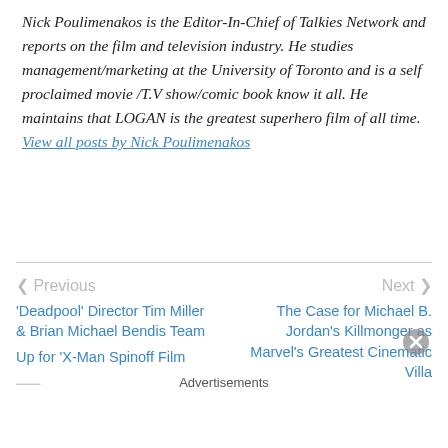Nick Poulimenakos is the Editor-In-Chief of Talkies Network and reports on the film and television industry. He studies management/marketing at the University of Toronto and is a self proclaimed movie /T.V show/comic book know it all. He maintains that LOGAN is the greatest superhero film of all time. View all posts by Nick Poulimenakos
< Previous | Next >
'Deadpool' Director Tim Miller & Brian Michael Bendis Team Up for 'X-Man' Spinoff Film...
The Case for Michael B. Jordan's Killmonger as Marvel's Greatest Cinematic Villa...
Advertisements